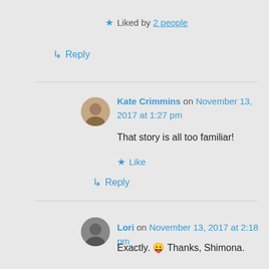★ Liked by 2 people
↳ Reply
Kate Crimmins on November 13, 2017 at 1:27 pm
That story is all too familiar!
★ Like
↳ Reply
Lori on November 13, 2017 at 2:18 pm
Exactly. 😛 Thanks, Shimona.